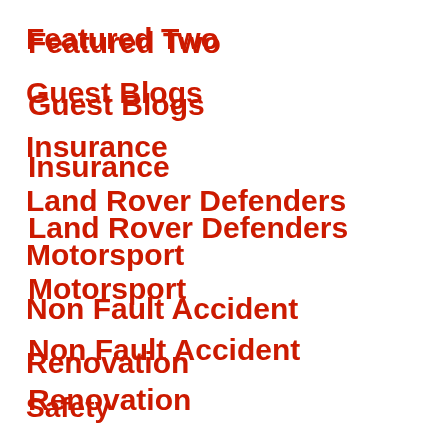Featured Two
Guest Blogs
Insurance
Land Rover Defenders
Motorsport
Non Fault Accident
Renovation
Safety
Science